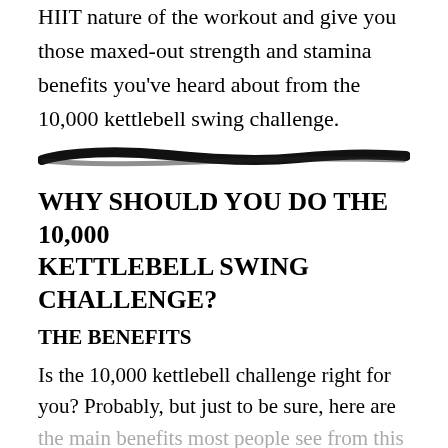HIIT nature of the workout and give you those maxed-out strength and stamina benefits you've heard about from the 10,000 kettlebell swing challenge.
[Figure (illustration): A thick horizontal black brushstroke divider line]
WHY SHOULD YOU DO THE 10,000 KETTLEBELL SWING CHALLENGE?
THE BENEFITS
Is the 10,000 kettlebell challenge right for you? Probably, but just to be sure, here are the main benefits most people see from this